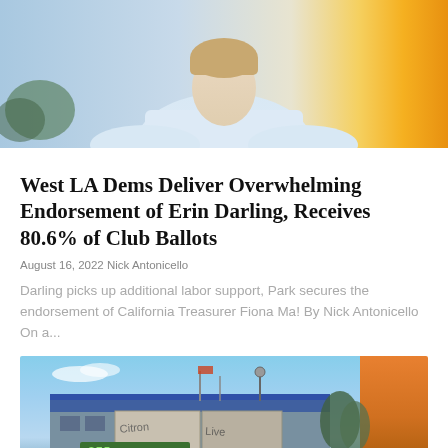[Figure (photo): Portrait photo of a young man in a light blue button-down shirt with a golden sunset background]
West LA Dems Deliver Overwhelming Endorsement of Erin Darling, Receives 80.6% of Club Ballots
August 16, 2022 Nick Antonicello
Darling picks up additional labor support, Park secures the endorsement of California Treasurer Fiona Ma! By Nick Antonicello On a...
[Figure (photo): Photo of a building with graffiti and green signage under a blue sky, with an orange wall on the right side]